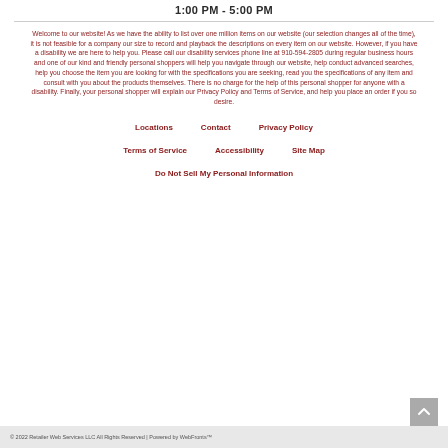1:00 PM - 5:00 PM
Welcome to our website! As we have the ability to list over one million items on our website (our selection changes all of the time), it is not feasible for a company our size to record and playback the descriptions on every item on our website. However, if you have a disability we are here to help you. Please call our disability services phone line at 910-594-2805 during regular business hours and one of our kind and friendly personal shoppers will help you navigate through our website, help conduct advanced searches, help you choose the item you are looking for with the specifications you are seeking, read you the specifications of any item and consult with you about the products themselves. There is no charge for the help of this personal shopper for anyone with a disability. Finally, your personal shopper will explain our Privacy Policy and Terms of Service, and help you place an order if you so desire.
Locations
Contact
Privacy Policy
Terms of Service
Accessibility
Site Map
Do Not Sell My Personal Information
© 2022 Retailer Web Services LLC All Rights Reserved | Powered by WebFronts™